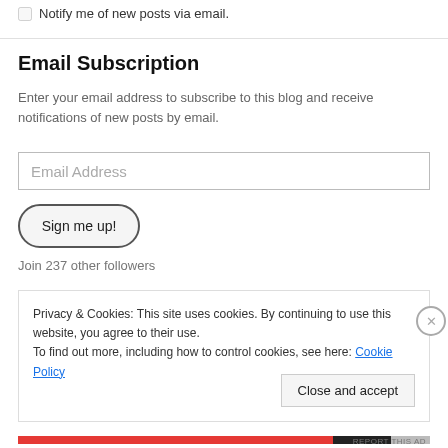Notify me of new posts via email.
Email Subscription
Enter your email address to subscribe to this blog and receive notifications of new posts by email.
Email Address
Sign me up!
Join 237 other followers
Privacy & Cookies: This site uses cookies. By continuing to use this website, you agree to their use.
To find out more, including how to control cookies, see here: Cookie Policy
Close and accept